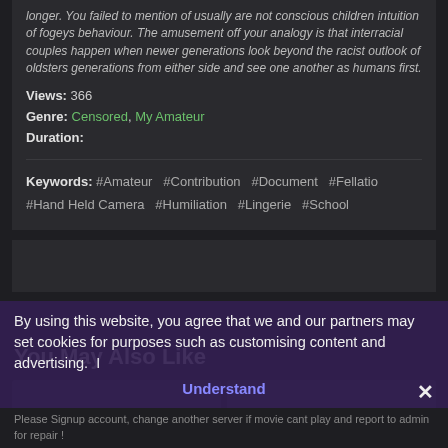longer. You failed to mention of usually are not conscious children intuition of fogeys behaviour. The amusement off your analogy is that interracial couples happen when newer generations look beyond the racist outlook of oldsters generations from either side and see one another as humans first.
Views: 366
Genre: Censored, My Amateur
Duration:
Keywords: #Amateur #Contribution #Document #Fellatio #Hand Held Camera #Humiliation #Lingerie #School
You May Also Like
By using this website, you agree that we and our partners may set cookies for purposes such as customising content and advertising. I Understand
Please Signup account, change another server if movie cant play and report to admin for repair !